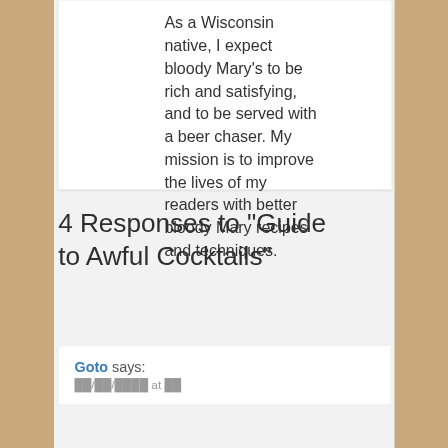As a Wisconsin native, I expect bloody Mary's to be rich and satisfying, and to be served with a beer chaser. My mission is to improve the lives of my readers with better bloody Mary recipes and techniques.
4 Responses to "Guide to Awful Cocktails"
Goto says: